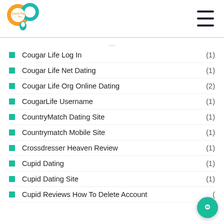Carib Pay App logo and hamburger menu
Cougar Life Log In (1)
Cougar Life Net Dating (1)
Cougar Life Org Online Dating (2)
CougarLife Username (1)
CountryMatch Dating Site (1)
Countrymatch Mobile Site (1)
Crossdresser Heaven Review (1)
Cupid Dating (1)
Cupid Dating Site (1)
Cupid Reviews How To Delete Account (1)